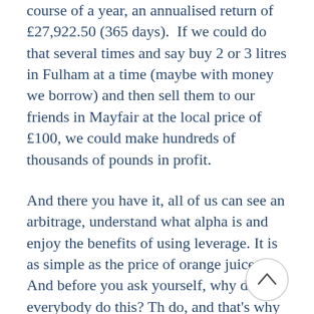course of a year, an annualised return of £27,922.50 (365 days).  If we could do that several times and say buy 2 or 3 litres in Fulham at a time (maybe with money we borrow) and then sell them to our friends in Mayfair at the local price of £100, we could make hundreds of thousands of pounds in profit.
And there you have it, all of us can see an arbitrage, understand what alpha is and enjoy the benefits of using leverage. It is as simple as the price of orange juice. And before you ask yourself, why doesn't everybody do this? They do, and that's why the price of orange juice may not stay at £100